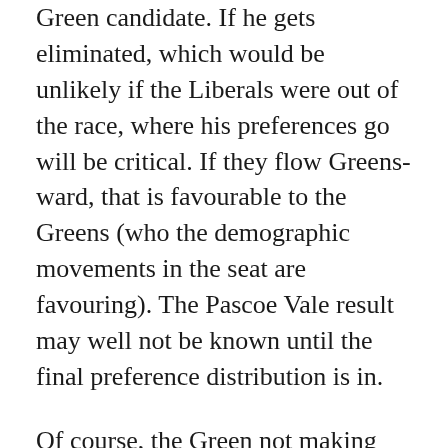Green candidate. If he gets eliminated, which would be unlikely if the Liberals were out of the race, where his preferences go will be critical. If they flow Greens-ward, that is favourable to the Greens (who the demographic movements in the seat are favouring). The Pascoe Vale result may well not be known until the final preference distribution is in.
Of course, the Green not making second place last time makes it harder for the Liberals to justify not running. They have a plausible claim of surprise if the Greens come second and their preferences re-elect the ALP MLA. In Preston, where the Greens came (a relatively distant) second (on the preferences of an independent, a local councillor, who is apparently running